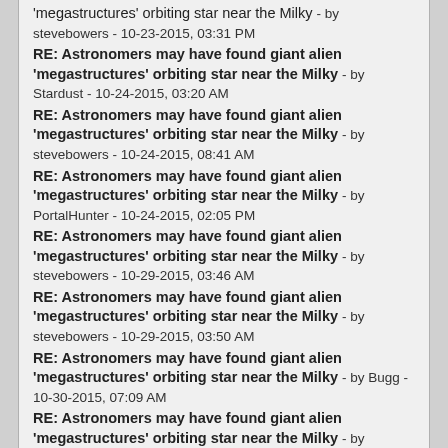'megastructures' orbiting star near the Milky - by stevebowers - 10-23-2015, 03:31 PM
RE: Astronomers may have found giant alien 'megastructures' orbiting star near the Milky - by Stardust - 10-24-2015, 03:20 AM
RE: Astronomers may have found giant alien 'megastructures' orbiting star near the Milky - by stevebowers - 10-24-2015, 08:41 AM
RE: Astronomers may have found giant alien 'megastructures' orbiting star near the Milky - by PortalHunter - 10-24-2015, 02:05 PM
RE: Astronomers may have found giant alien 'megastructures' orbiting star near the Milky - by stevebowers - 10-29-2015, 03:46 AM
RE: Astronomers may have found giant alien 'megastructures' orbiting star near the Milky - by stevebowers - 10-29-2015, 03:50 AM
RE: Astronomers may have found giant alien 'megastructures' orbiting star near the Milky - by Bugg - 10-30-2015, 07:09 AM
RE: Astronomers may have found giant alien 'megastructures' orbiting star near the Milky - by stevebowers - 10-30-2015, 09:17 AM
RE: Astronomers may have found giant alien 'megastructures' orbiting star near the Milky - by Bear - 10-30-2015, 01:09 PM
RE: Astronomers may have found giant alien